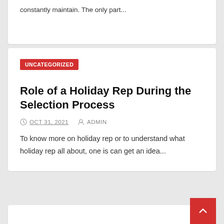constantly maintain. The only part...
UNCATEGORIZED
Role of a Holiday Rep During the Selection Process
OCT 31, 2021   ADMIN
To know more on holiday rep or to understand what holiday rep all about, one is can get an idea...